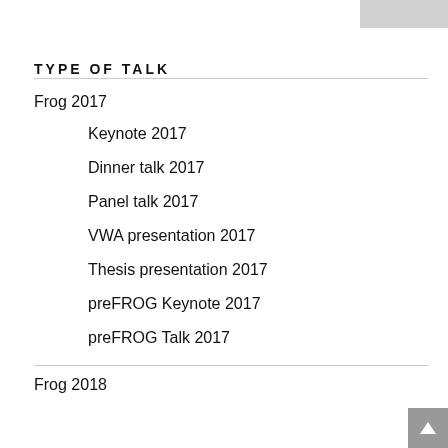TYPE OF TALK
Frog 2017
Keynote 2017
Dinner talk 2017
Panel talk 2017
VWA presentation 2017
Thesis presentation 2017
preFROG Keynote 2017
preFROG Talk 2017
Frog 2018